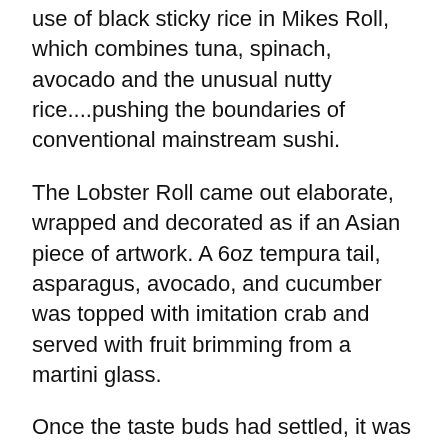use of black sticky rice in Mikes Roll, which combines tuna, spinach, avocado and the unusual nutty rice....pushing the boundaries of conventional mainstream sushi.
The Lobster Roll came out elaborate, wrapped and decorated as if an Asian piece of artwork. A 6oz tempura tail, asparagus, avocado, and cucumber was topped with imitation crab and served with fruit brimming from a martini glass.
Once the taste buds had settled, it was time to try a lychee martini (not on the menu, but a habit left over from my Buddha Bar days) which was exquisitely presented with two lychees soaked in vodka; a desert to match them all, and a great way to seal the deal. Coco Asian Bistro might be a littel out of the infamous Las Olas mix of bars and restaurants, but they get my vote.